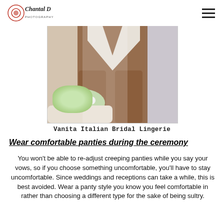Chantal D Photography
[Figure (photo): A woman in a white high-cut bodysuit standing with a bouquet of white flowers on a white sofa, partial body shot showing torso and legs]
Vanita Italian Bridal Lingerie
Wear comfortable panties during the ceremony
You won't be able to re-adjust creeping panties while you say your vows, so if you choose something uncomfortable, you'll have to stay uncomfortable. Since weddings and receptions can take a while, this is best avoided. Wear a panty style you know you feel comfortable in rather than choosing a different type for the sake of being sultry.